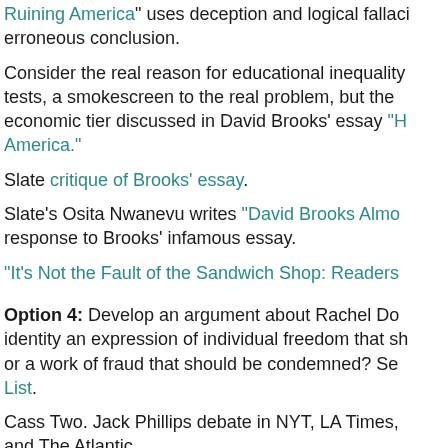Ruining America" uses deception and logical fallacies to reach its erroneous conclusion.
Consider the real reason for educational inequality … tests, a smokescreen to the real problem, but the economic tier discussed in David Brooks' essay "H… America."
Slate critique of Brooks' essay.
Slate's Osita Nwanevu writes "David Brooks Almo… response to Brooks' infamous essay.
"It's Not the Fault of the Sandwich Shop: Readers…
Option 4: Develop an argument about Rachel Do… identity an expression of individual freedom that sh… or a work of fraud that should be condemned? Se… List.
Cass Two. Jack Phillips debate in NYT, LA Times, and The Atlantic.